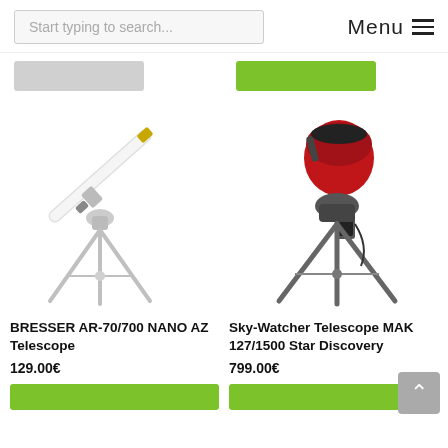Start typing to search...   Menu
[Figure (photo): BRESSER AR-70/700 NANO AZ Telescope – white refractor telescope on a silver tripod]
BRESSER AR-70/700 NANO AZ Telescope
129.00€
[Figure (photo): Sky-Watcher Telescope MAK 127/1500 Star Discovery – red and black computerized Maksutov-Cassegrain telescope on dark tripod]
Sky-Watcher Telescope MAK 127/1500 Star Discovery
799.00€